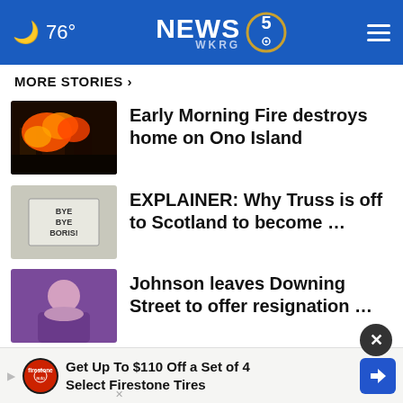🌙 76° NEWS 5 WKRG
MORE STORIES >
Early Morning Fire destroys home on Ono Island
EXPLAINER: Why Truss is off to Scotland to become …
Johnson leaves Downing Street to offer resignation …
Uvalde school year starts amid fear and unfinished …
Canada police hunt remaining suspect
Florida police …
Get Up To $110 Off a Set of 4 Select Firestone Tires